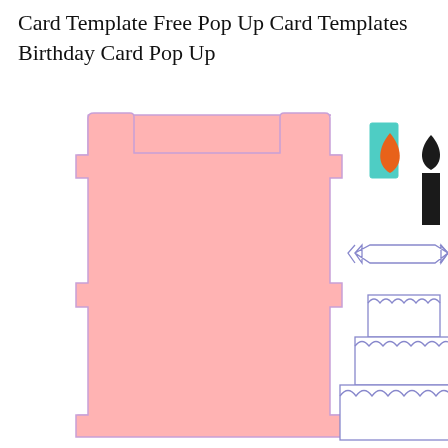Card Template Free Pop Up Card Templates Birthday Card Pop Up
[Figure (illustration): Pop-up birthday card template components: a large pink folded card template shape on the left (T/I shaped with stepped edges and rounded corners, pink fill with lavender outline), and on the right: a teal/mint rectangle (candle body), a black candle with flame, an orange flame teardrop shape, a banner/ribbon outline, and a three-tiered birthday cake outline with scalloped edges.]